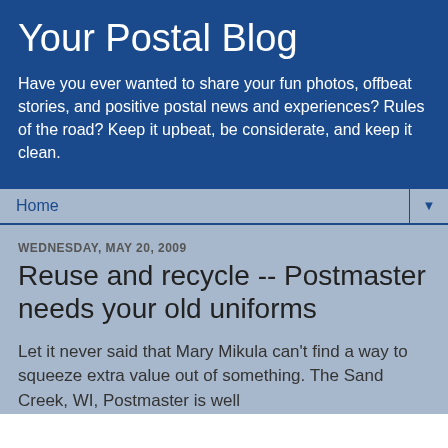Your Postal Blog
Have you ever wanted to share your fun photos, offbeat stories, and positive postal news and experiences? Rules of the road? Keep it upbeat, be considerate, and keep it clean.
Home
WEDNESDAY, MAY 20, 2009
Reuse and recycle -- Postmaster needs your old uniforms
Let it never said that Mary Mikula can't find a way to squeeze extra value out of something. The Sand Creek, WI, Postmaster is well